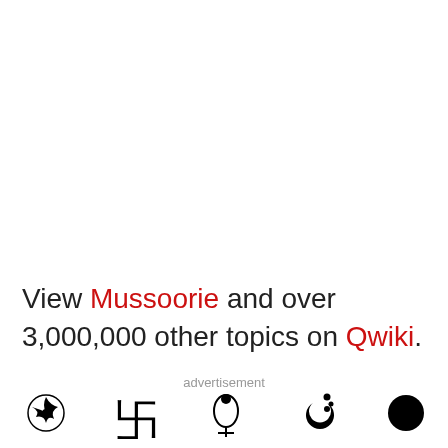View Mussoorie and over 3,000,000 other topics on Qwiki.
You can read about the Mussoorie
[Figure (illustration): Footer bar with religious/symbolic icons: Buddhist/Hindu spiral icon, swastika symbol, Qwiki balloon logo, Islamic crescent and star, and a filled black circle. 'advertisement' label in center top of footer area.]